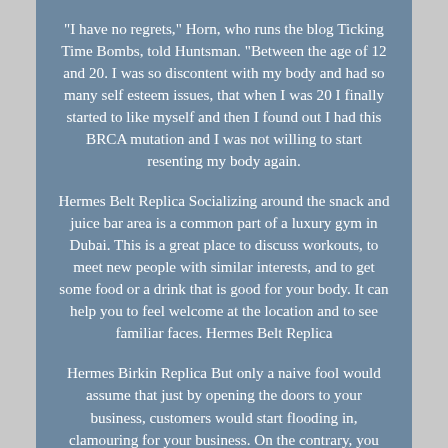"I have no regrets," Horn, who runs the blog Ticking Time Bombs, told Huntsman. "Between the age of 12 and 20. I was so discontent with my body and had so many self esteem issues, that when I was 20 I finally started to like myself and then I found out I had this BRCA mutation and I was not willing to start resenting my body again.
Hermes Belt Replica Socializing around the snack and juice bar area is a common part of a luxury gym in Dubai. This is a great place to discuss workouts, to meet new people with similar interests, and to get some food or a drink that is good for your body. It can help you to feel welcome at the location and to see familiar faces. Hermes Belt Replica
Hermes Birkin Replica But only a naive fool would assume that just by opening the doors to your business, customers would start flooding in, clamouring for your business. On the contrary, you have to get the word out about your business. But still, it's not easy and it is not a short time...